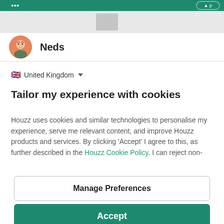[Figure (screenshot): Top navigation bar with green background and buttons]
Neds
United Kingdom
Tailor my experience with cookies
Houzz uses cookies and similar technologies to personalise my experience, serve me relevant content, and improve Houzz products and services. By clicking 'Accept' I agree to this, as further described in the Houzz Cookie Policy. I can reject non-
Manage Preferences
Accept